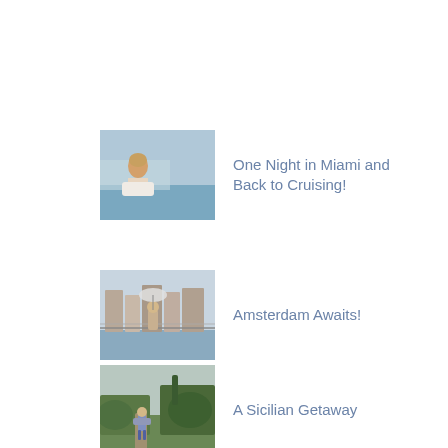[Figure (photo): Woman on cruise ship looking out at water]
One Night in Miami and Back to Cruising!
[Figure (photo): Person standing on bridge over Amsterdam canal]
Amsterdam Awaits!
[Figure (photo): Person walking along a rural path in Sicily]
A Sicilian Getaway